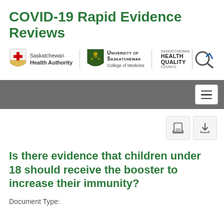COVID-19 Rapid Evidence Reviews
[Figure (logo): Saskatchewan Health Authority logo, University of Saskatchewan College of Medicine logo, Saskatchewan Health Quality Council logo]
[Figure (other): Navigation bar with hamburger menu button]
[Figure (other): Print and download action buttons]
Is there evidence that children under 18 should receive the booster to increase their immunity?
Document Type: